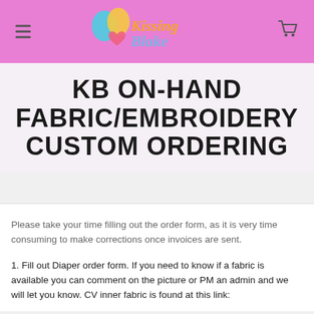KissingBlake (logo with hamburger menu and cart icon)
KB ON-HAND FABRIC/EMBROIDERY CUSTOM ORDERING
Please take your time filling out the order form, as it is very time consuming to make corrections once invoices are sent.
1. Fill out Diaper order form. If you need to know if a fabric is available you can comment on the picture or PM an admin and we will let you know. CV inner fabric is found at this link: